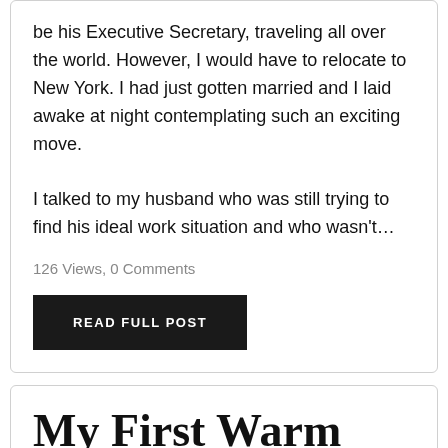be his Executive Secretary, traveling all over the world. However, I would have to relocate to New York. I had just gotten married and I laid awake at night contemplating such an exciting move.

I talked to my husband who was still trying to find his ideal work situation and who wasn't…
126 Views, 0 Comments
READ FULL POST
My First Warm